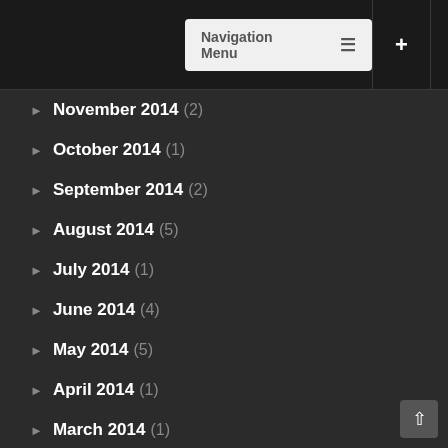Navigation Menu
November 2014 (2)
October 2014 (1)
September 2014 (2)
August 2014 (5)
July 2014 (1)
June 2014 (4)
May 2014 (5)
April 2014 (1)
March 2014 (1)
February 2014 (2)
January 2014 (2)
December 2013 (1)
November 2013 (2)